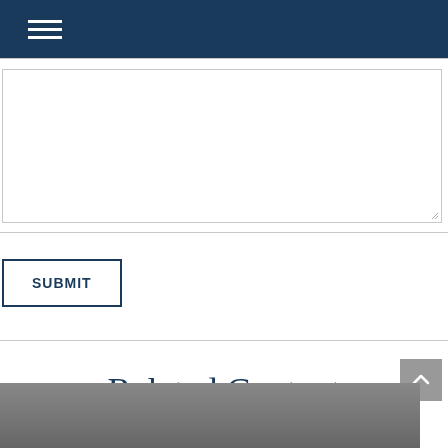Navigation menu (hamburger icon on dark blue bar)
[Figure (screenshot): Empty text area input box with resize handle in bottom right corner]
SUBMIT
Related Content
[Figure (photo): Partial view of a dark grey photo at the bottom of the page]